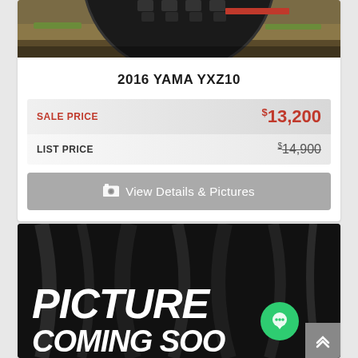[Figure (photo): Partial photo of an off-road vehicle tire on dirt/grass background, cropped at top]
2016 YAMA YXZ10
SALE PRICE $13,200
LIST PRICE $14,900 (strikethrough)
View Details & Pictures
[Figure (photo): Dark background placeholder image with bold italic white text reading PICTURE COMING SOON, with a green chat bubble icon overlay and scroll-to-top button]